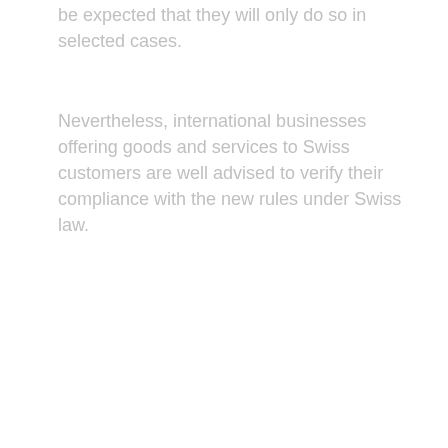be expected that they will only do so in selected cases.
Nevertheless, international businesses offering goods and services to Swiss customers are well advised to verify their compliance with the new rules under Swiss law.